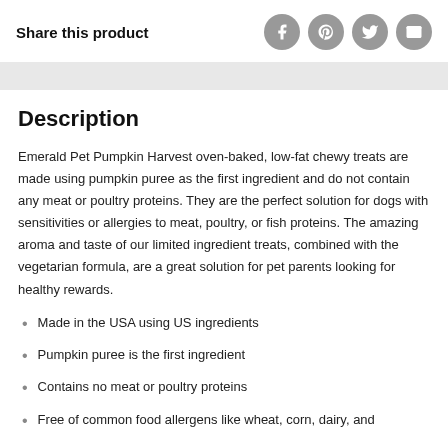Share this product
[Figure (illustration): Social sharing icons: Facebook, Pinterest, Twitter, Email — circular gray buttons]
Description
Emerald Pet Pumpkin Harvest oven-baked, low-fat chewy treats are made using pumpkin puree as the first ingredient and do not contain any meat or poultry proteins. They are the perfect solution for dogs with sensitivities or allergies to meat, poultry, or fish proteins. The amazing aroma and taste of our limited ingredient treats, combined with the vegetarian formula, are a great solution for pet parents looking for healthy rewards.
Made in the USA using US ingredients
Pumpkin puree is the first ingredient
Contains no meat or poultry proteins
Free of common food allergens like wheat, corn, dairy, and